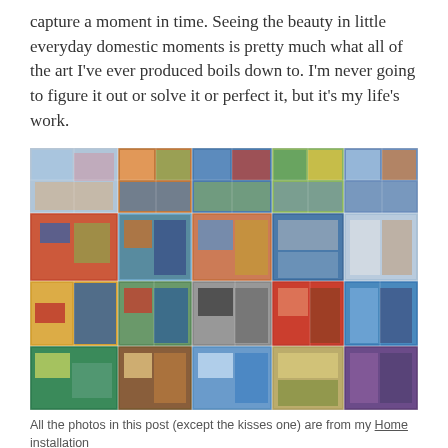capture a moment in time. Seeing the beauty in little everyday domestic moments is pretty much what all of the art I've ever produced boils down to. I'm never going to figure it out or solve it or perfect it, but it's my life's work.
[Figure (photo): A large collage of many small photographs showing colorful artwork, domestic scenes, books, craft supplies, paintings, and everyday household objects arranged in a grid.]
All the photos in this post (except the kisses one) are from my Home installation